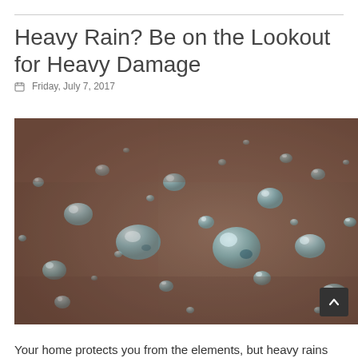Heavy Rain? Be on the Lookout for Heavy Damage
Friday, July 7, 2017
[Figure (photo): Close-up macro photograph of water droplets on a brown/copper metallic surface, showing many rounded water beads of various sizes with reflections, in a shallow depth-of-field style]
Your home protects you from the elements, but heavy rains